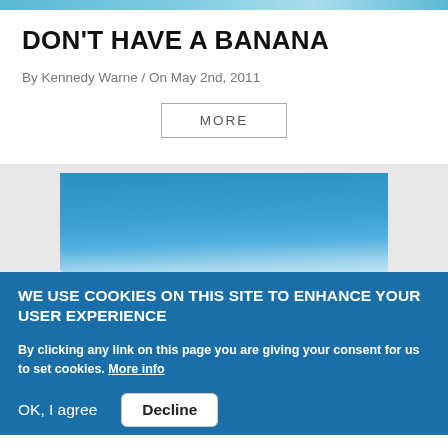[Figure (photo): Top strip of a photo showing blue water/ocean scene]
DON'T HAVE A BANANA
By Kennedy Warne / On May 2nd, 2011
MORE
[Figure (photo): Blue ocean/water photograph with white wave line at bottom]
WE USE COOKIES ON THIS SITE TO ENHANCE YOUR USER EXPERIENCE
By clicking any link on this page you are giving your consent for us to set cookies. More info
OK, I agree   Decline